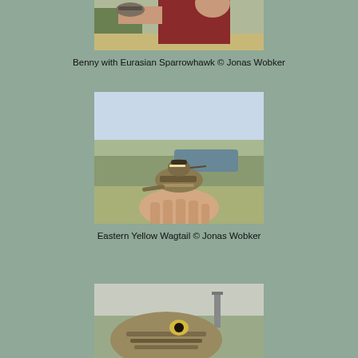[Figure (photo): Person in red t-shirt holding a Eurasian Sparrowhawk, with trees and a path visible in the background. Image is cropped at the top of the page.]
Benny with Eurasian Sparrowhawk © Jonas Wobker
[Figure (photo): A small bird (Eastern Yellow Wagtail) perched on a human hand, with a marshy landscape and water visible in the background.]
Eastern Yellow Wagtail © Jonas Wobker
[Figure (photo): Partially visible photo at the bottom of the page showing a close-up of a bird being held, with a blurred outdoor background.]